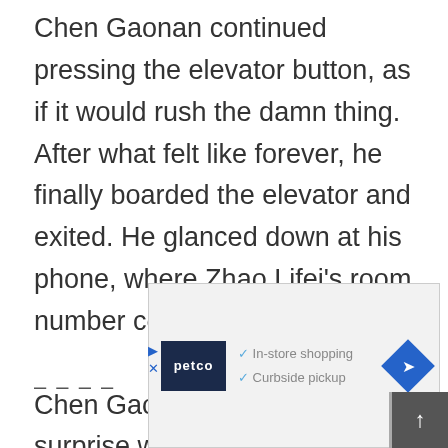Chen Gaonan continued pressing the elevator button, as if it would rush the damn thing. After what felt like forever, he finally boarded the elevator and exited. He glanced down at his phone, where Zhao Lifei's room number could be found.

Chen Gaonan blinked in surprise when he saw a figure down the hallway. What?! The President had come up here faster than the eleva
[Figure (other): Petco advertisement overlay showing Petco logo, checkmarks for 'In-store shopping' and 'Curbside pickup', and a blue diamond direction arrow icon.]